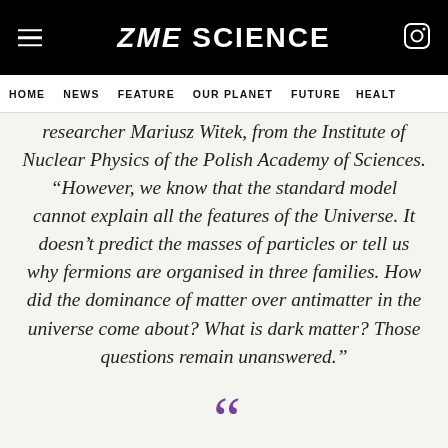ZME SCIENCE
HOME  NEWS  FEATURE  OUR PLANET  FUTURE  HEALT
researcher Mariusz Witek, from the Institute of Nuclear Physics of the Polish Academy of Sciences. “However, we know that the standard model cannot explain all the features of the Universe. It doesn’t predict the masses of particles or tell us why fermions are organised in three families. How did the dominance of matter over antimatter in the universe come about? What is dark matter? Those questions remain unanswered.”
[Figure (illustration): Large purple opening double quotation mark decorative element]